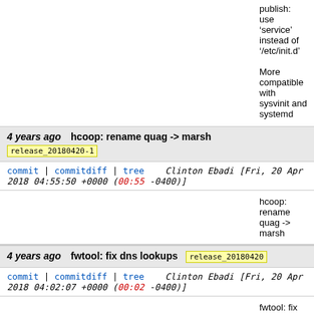publish: use 'service' instead of '/etc/init.d'

More compatible with sysvinit and systemd
4 years ago   hcoop: rename quag -> marsh   release_20180420-1
commit | commitdiff | tree   Clinton Ebadi [Fri, 20 Apr 2018 04:55:50 +0000 (00:55 -0400)]
hcoop: rename quag -> marsh
4 years ago   fwtool: fix dns lookups   release_20180420
commit | commitdiff | tree   Clinton Ebadi [Fri, 20 Apr 2018 04:02:07 +0000 (00:02 -0400)]
fwtool: fix dns lookups

dig +short actually returns the ip with any cname, wrong.
4 years ago   firewall: fix generation of outgoing rules on webserver   release_20180419-1
commit | commitdiff | tree   Clinton Ebadi [Fri, 20 Apr 2018 02:23:27 +0000 (22:23 -0400)]